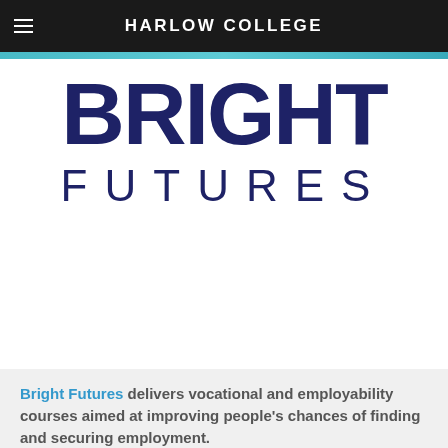HARLOW COLLEGE
[Figure (logo): Bright Futures logo with large bold BRIGHT text and FUTURES in spaced letters below, dark navy blue on white background with teal accent bar at top]
Bright Futures delivers vocational and employability courses aimed at improving people's chances of finding and securing employment.
FREE e-Learning Courses